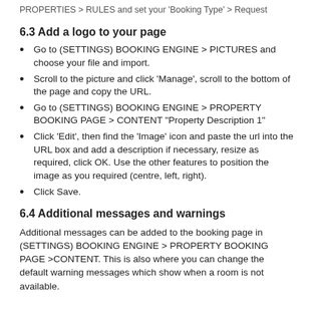PROPERTIES > RULES and set your 'Booking Type' > Request
6.3 Add a logo to your page
Go to (SETTINGS) BOOKING ENGINE > PICTURES and choose your file and import.
Scroll to the picture and click 'Manage', scroll to the bottom of the page and copy the URL.
Go to (SETTINGS) BOOKING ENGINE > PROPERTY BOOKING PAGE > CONTENT "Property Description 1"
Click 'Edit', then find the 'Image' icon and paste the url into the URL box and add a description if necessary, resize as required, click OK. Use the other features to position the image as you required (centre, left, right).
Click Save.
6.4 Additional messages and warnings
Additional messages can be added to the booking page in (SETTINGS) BOOKING ENGINE > PROPERTY BOOKING PAGE >CONTENT. This is also where you can change the default warning messages which show when a room is not available.